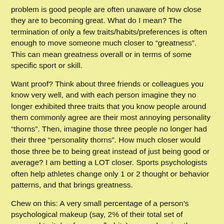problem is good people are often unaware of how close they are to becoming great. What do I mean? The termination of only a few traits/habits/preferences is often enough to move someone much closer to “greatness”. This can mean greatness overall or in terms of some specific sport or skill.
Want proof? Think about three friends or colleagues you know very well, and with each person imagine they no longer exhibited three traits that you know people around them commonly agree are their most annoying personality “thorns”. Then, imagine those three people no longer had their three “personality thorns”. How much closer would those three be to being great instead of just being good or average? I am betting a LOT closer. Sports psychologists often help athletes change only 1 or 2 thought or behavior patterns, and that brings greatness.
Chew on this: A very small percentage of a person’s psychological makeup (say, 2% of their total set of personal traits/preferences/habits) can undermine the other 98% of their makeup that is healthy and positive. A trainload of healthy habits can be derailed by a few bad habits. Think about it: How many times have you said to yourself, “I really like X except they are